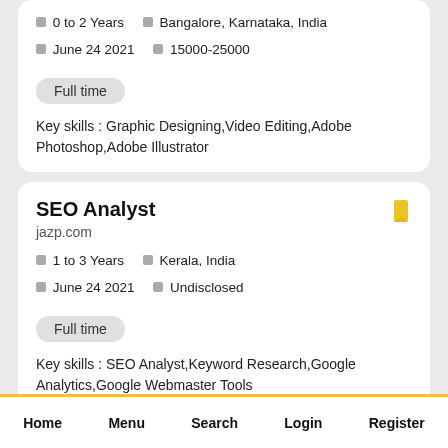0 to 2 Years   Bangalore, Karnataka, India
June 24 2021   15000-25000
Full time
Key skills : Graphic Designing,Video Editing,Adobe Photoshop,Adobe Illustrator
SEO Analyst
jazp.com
1 to 3 Years   Kerala, India
June 24 2021   Undisclosed
Full time
Key skills : SEO Analyst,Keyword Research,Google Analytics,Google Webmaster Tools
Home   Menu   Search   Login   Register